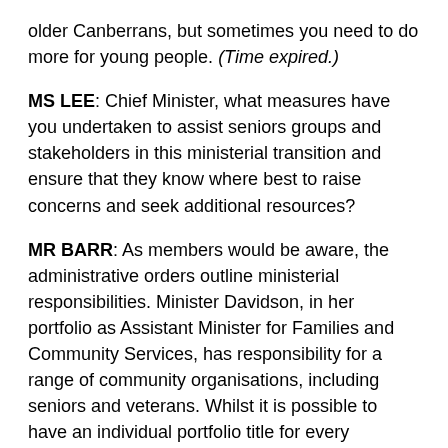older Canberrans, but sometimes you need to do more for young people. (Time expired.)
MS LEE: Chief Minister, what measures have you undertaken to assist seniors groups and stakeholders in this ministerial transition and ensure that they know where best to raise concerns and seek additional resources?
MR BARR: As members would be aware, the administrative orders outline ministerial responsibilities. Minister Davidson, in her portfolio as Assistant Minister for Families and Community Services, has responsibility for a range of community organisations, including seniors and veterans. Whilst it is possible to have an individual portfolio title for every possible area of interest of the community, that would lead to ministers having very long titles.
Ms Lee: Point of order, Madam Speaker.